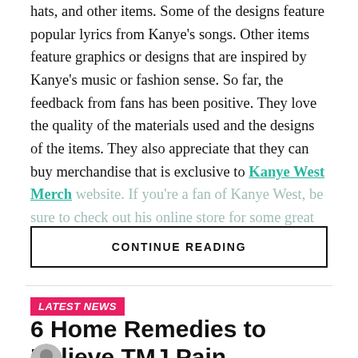hats, and other items. Some of the designs feature popular lyrics from Kanye's songs. Other items feature graphics or designs that are inspired by Kanye's music or fashion sense. So far, the feedback from fans has been positive. They love the quality of the materials used and the designs of the items. They also appreciate that they can buy merchandise that is exclusive to Kanye West Merch website. If you're a fan of Kanye West, be sure to check out his online store for some great merch.
CONTINUE READING
LATEST NEWS
6 Home Remedies to Relieve TMJ Pain